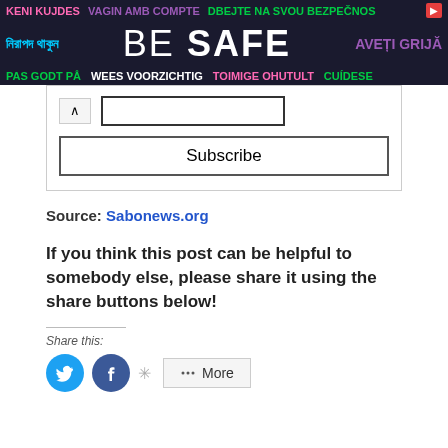[Figure (other): Multilingual safety advertisement banner with colorful text on dark background saying BE SAFE in multiple languages]
[Figure (other): Subscribe widget with collapse button, email input field, and Subscribe button]
Source: Sabonews.org
If you think this post can be helpful to somebody else, please share it using the share buttons below!
Share this:
[Figure (other): Share buttons: Twitter (blue circle), Facebook (blue circle), and More button]